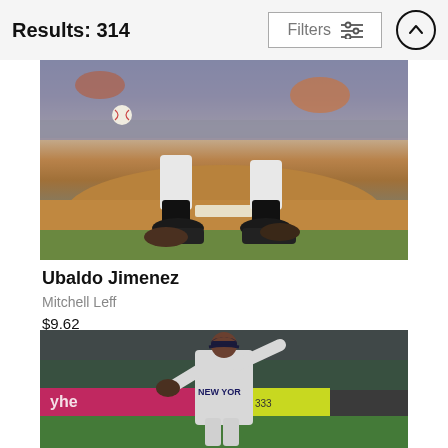Results: 314
[Figure (photo): Baseball pitcher releasing ball, view of legs and mound, stadium crowd in background]
Ubaldo Jimenez
Mitchell Leff
$9.62
[Figure (photo): New York Yankees pitcher winding up on mound in gray uniform, colorful advertisement boards in background]